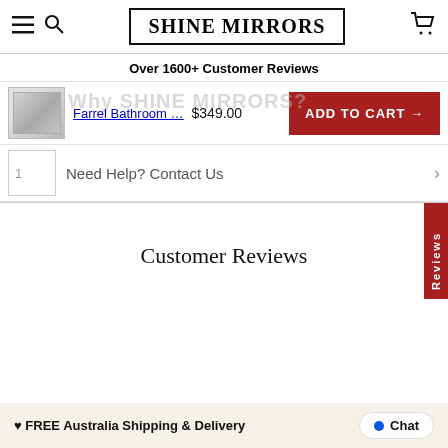SHINE MIRRORS
Over 1600+ Customer Reviews
[Figure (photo): Product thumbnail of Farrel Bathroom mirror cabinet, silver/grey reflective surface]
Farrel Bathroom ... $349.00 ADD TO CART →
1 Need Help? Contact Us
Customer Reviews
♥ FREE Australia Shipping & Delivery
Chat